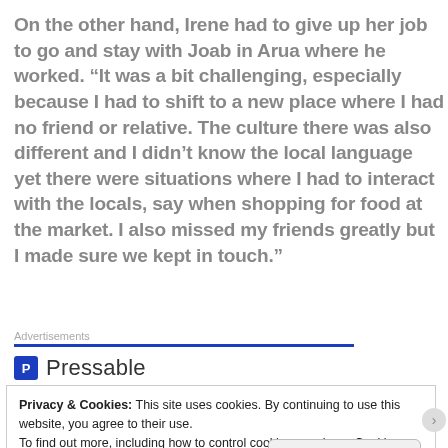On the other hand, Irene had to give up her job to go and stay with Joab in Arua where he worked. “It was a bit challenging, especially because I had to shift to a new place where I had no friend or relative. The culture there was also different and I didn’t know the local language yet there were situations where I had to interact with the locals, say when shopping for food at the market. I also missed my friends greatly but I made sure we kept in touch.”
Advertisements
[Figure (logo): Pressable logo with blue P icon and the word Pressable, followed by a row of dots]
Privacy & Cookies: This site uses cookies. By continuing to use this website, you agree to their use. To find out more, including how to control cookies, see here: Cookie Policy